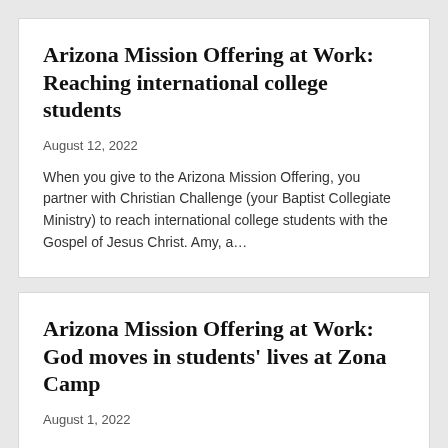Arizona Mission Offering at Work: Reaching international college students
August 12, 2022
When you give to the Arizona Mission Offering, you partner with Christian Challenge (your Baptist Collegiate Ministry) to reach international college students with the Gospel of Jesus Christ. Amy, a...
Arizona Mission Offering at Work: God moves in students' lives at Zona Camp
August 1, 2022